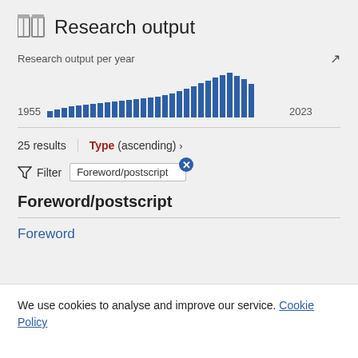Research output
Research output per year
[Figure (bar-chart): Research output per year]
25 results
Type (ascending) ›
Filter   Foreword/postscript
Foreword/postscript
Foreword
We use cookies to analyse and improve our service. Cookie Policy